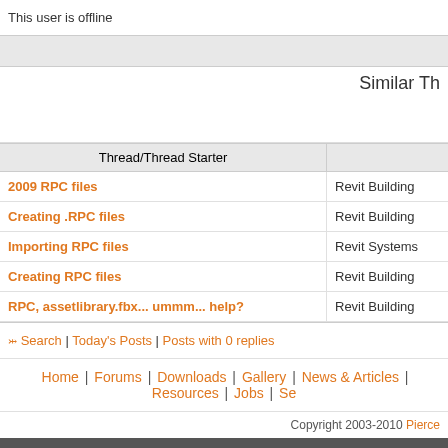This user is offline
| Thread/Thread Starter |  |
| --- | --- |
| 2009 RPC files | Revit Building |
| Creating .RPC files | Revit Building |
| Importing RPC files | Revit Systems |
| Creating RPC files | Revit Building |
| RPC, assetlibrary.fbx... ummm... help? | Revit Building |
Search | Today's Posts | Posts with 0 replies
Home | Forums | Downloads | Gallery | News & Articles | Resources | Jobs | Se
Copyright 2003-2010 Pierce
Page generation time: 0.2360